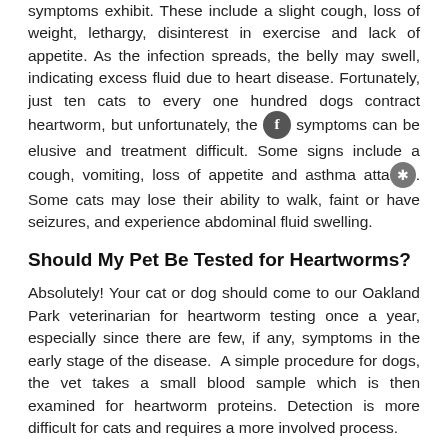symptoms exhibit. These include a slight cough, loss of weight, lethargy, disinterest in exercise and lack of appetite. As the infection spreads, the belly may swell, indicating excess fluid due to heart disease. Fortunately, just ten cats to every one hundred dogs contract heartworm, but unfortunately, the symptoms can be elusive and treatment difficult. Some signs include a cough, vomiting, loss of appetite and asthma attacks. Some cats may lose their ability to walk, faint or have seizures, and experience abdominal fluid swelling.
Should My Pet Be Tested for Heartworms?
Absolutely! Your cat or dog should come to our Oakland Park veterinarian for heartworm testing once a year, especially since there are few, if any, symptoms in the early stage of the disease.  A simple procedure for dogs, the vet takes a small blood sample which is then examined for heartworm proteins. Detection is more difficult for cats and requires a more involved process.
How Can I Protect My Pet from Getting Heartworm Disease?